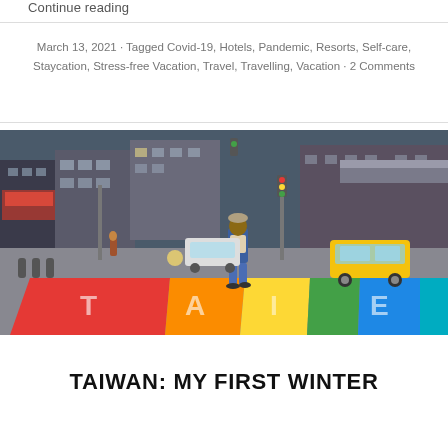Continue reading
March 13, 2021 · Tagged Covid-19, Hotels, Pandemic, Resorts, Self-care, Staycation, Stress-free Vacation, Travel, Travelling, Vacation · 2 Comments
[Figure (photo): Woman standing on a colorful rainbow crosswalk in a busy urban street in Taiwan, with yellow taxi and city buildings in background.]
TAIWAN: MY FIRST WINTER